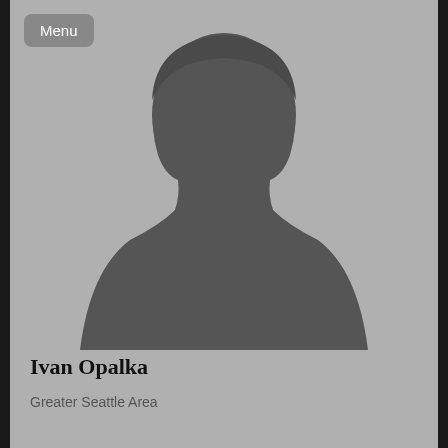[Figure (illustration): Default avatar silhouette of a person (head and shoulders) in dark gray on a light gray background]
Menu
Ivan Opalka
Greater Seattle Area